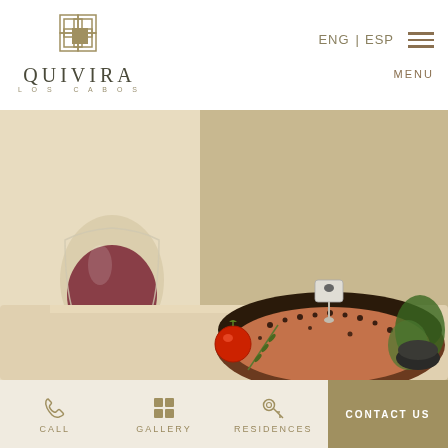[Figure (logo): Quivira Los Cabos logo with decorative square grid icon above the text]
ENG | ESP  MENU
[Figure (photo): Photo of a pepper-crusted steak with a Certified Angus Beef marker pin, a glass of red wine, cherry tomato, rosemary, and a small bowl of garnish on a wooden board]
CALL
GALLERY
RESIDENCES
CONTACT US